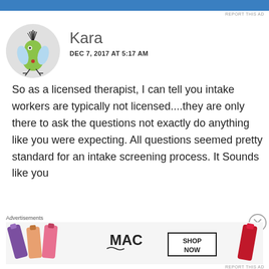REPORT THIS AD
[Figure (illustration): Circular avatar showing a cartoon green bird-like creature with black spiky hair on top, wearing what appears to be a necklace, with blue wing-like appendages, on a light gray circular background]
Kara
DEC 7, 2017 AT 5:17 AM
So as a licensed therapist, I can tell you intake workers are typically not licensed....they are only there to ask the questions not exactly do anything like you were expecting. All questions seemed pretty standard for an intake screening process. It Sounds like you
Advertisements
[Figure (photo): Advertisement banner for MAC cosmetics showing lipsticks in purple, peach, pink colors on the left, MAC logo in center, and a red lipstick on right with a 'SHOP NOW' button]
REPORT THIS AD